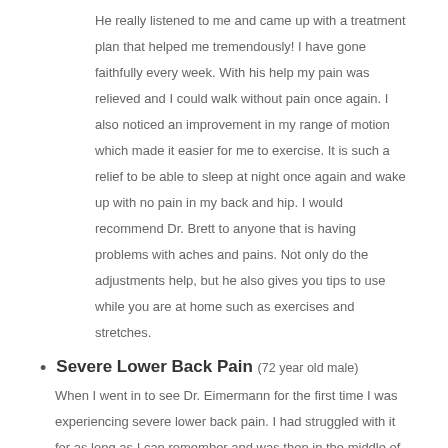He really listened to me and came up with a treatment plan that helped me tremendously! I have gone faithfully every week. With his help my pain was relieved and I could walk without pain once again. I also noticed an improvement in my range of motion which made it easier for me to exercise. It is such a relief to be able to sleep at night once again and wake up with no pain in my back and hip. I would recommend Dr. Brett to anyone that is having problems with aches and pains. Not only do the adjustments help, but he also gives you tips to use while you are at home such as exercises and stretches.
Severe Lower Back Pain (72 year old male)
When I went in to see Dr. Eimermann for the first time I was experiencing severe lower back pain. I had struggled with it for as long as I can remember and was then in the middle of one of the most severe episodes. Previous to seeing Dr. Brett I had been given an epidural with